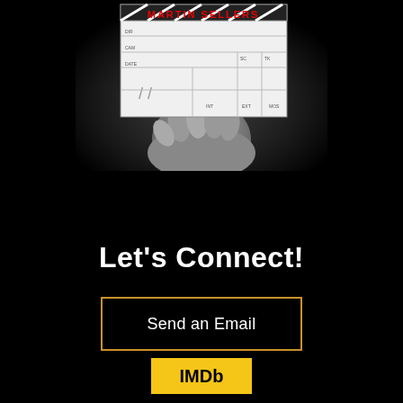[Figure (photo): Black and white photo of a hand holding a film clapperboard with 'MARTIN SELLERS' written in red at the top. Dark background.]
Let's Connect!
Send an Email
IMDb